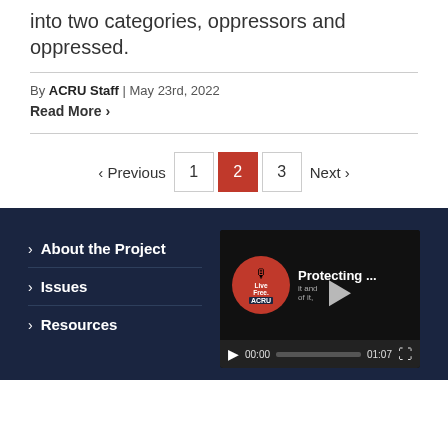into two categories, oppressors and oppressed.
By ACRU Staff | May 23rd, 2022
Read More >
< Previous  1  2  3  Next >
> About the Project
> Issues
> Resources
[Figure (screenshot): Video widget showing ACRU LiveFree podcast thumbnail with title 'Protecting...' and video controls showing 00:00 / 01:07]